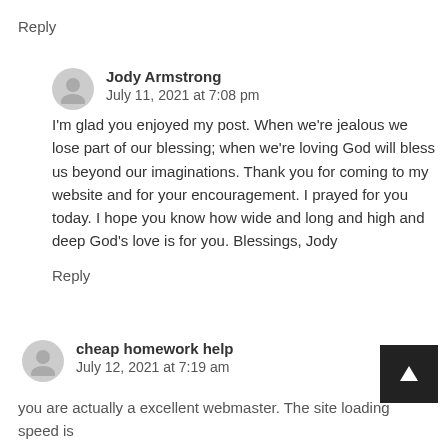Reply
Jody Armstrong
July 11, 2021 at 7:08 pm
I'm glad you enjoyed my post. When we're jealous we lose part of our blessing; when we're loving God will bless us beyond our imaginations. Thank you for coming to my website and for your encouragement. I prayed for you today. I hope you know how wide and long and high and deep God's love is for you. Blessings, Jody
Reply
cheap homework help
July 12, 2021 at 7:19 am
you are actually a excellent webmaster. The site loading speed is